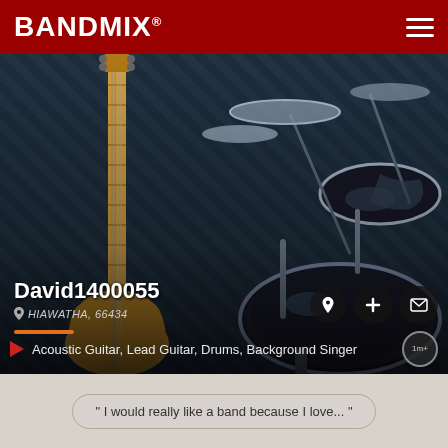BANDMIX®
[Figure (photo): Photo of a yellow electric guitar and a chrome drum kit in a dark studio setting with diagonal light patterns]
David1400055
HIAWATHA, 66434
Acoustic Guitar, Lead Guitar, Drums, Background Singer
" I would really like a band because I love... "